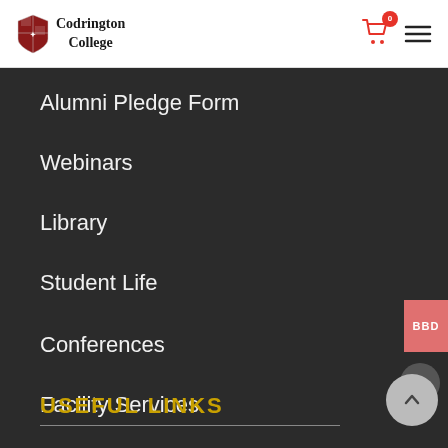Codrington College
Alumni Pledge Form
Webinars
Library
Student Life
Conferences
Facility Services
USEFUL LINKS